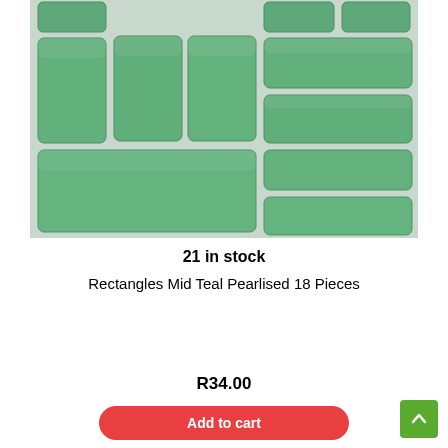[Figure (photo): Photo of green pearlised teal rectangle mosaic tiles arranged in a grid pattern on a white background. Various sizes of rounded-corner rectangular tiles in a mid teal/green color.]
21 in stock
Rectangles Mid Teal Pearlised 18 Pieces
R34.00
Add to cart